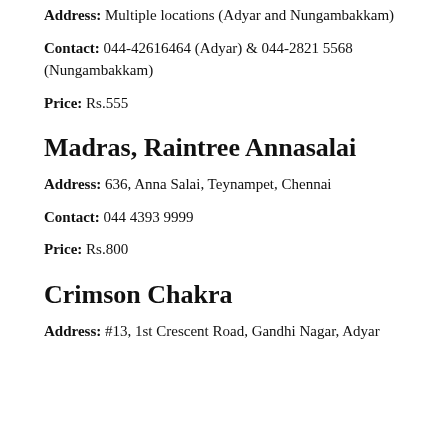Address: Multiple locations (Adyar and Nungambakkam)
Contact: 044-42616464 (Adyar) & 044-2821 5568 (Nungambakkam)
Price: Rs.555
Madras, Raintree Annasalai
Address: 636, Anna Salai, Teynampet, Chennai
Contact: 044 4393 9999
Price: Rs.800
Crimson Chakra
Address: #13, 1st Crescent Road, Gandhi Nagar, Adyar